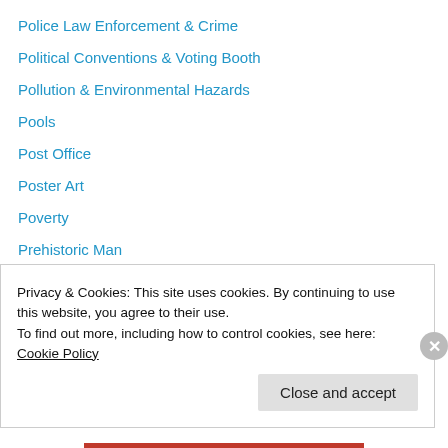Police Law Enforcement & Crime
Political Conventions & Voting Booth
Pollution & Environmental Hazards
Pools
Post Office
Poster Art
Poverty
Prehistoric Man
Presidents (U.S.)
Presidents (U.S.) – 1789-1797 (George Washington)
Presidents (U.S.) – 1801-1809 (Thomas Jefferson)
Presidents (U.S.) – 1953- 1961 (Dwight D. Eisenhower)
Presidents (U.S.) – 1961- 1963 (John F. Kennedy)
Privacy & Cookies: This site uses cookies. By continuing to use this website, you agree to their use.
To find out more, including how to control cookies, see here: Cookie Policy